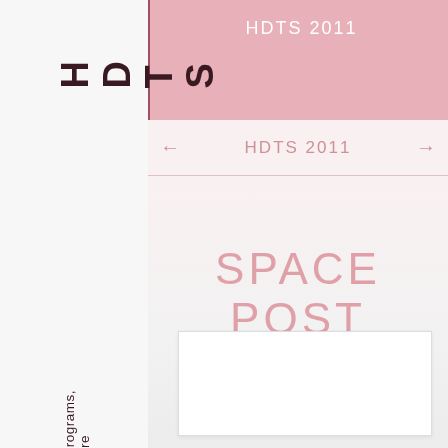HDTS 2011
HDTS
Information, Programs, A-Z West, Store
HDTS 2011
SPACE POST
[Figure (other): Empty white content box placeholder area]